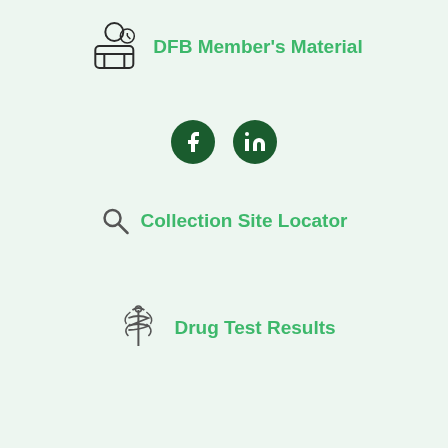[Figure (illustration): Person/worker icon with DFB Member's Material label in green]
DFB Member's Material
[Figure (logo): Facebook and LinkedIn social media icon circles in dark green]
Collection Site Locator
Drug Test Results
[Figure (logo): Drug Free Business logo with mountain/graph icon in dark green and hamburger menu]
Sign Me Up Today!
Schedule a drug/alcohol test in Bothell, WA powered by Calendly
Testing &